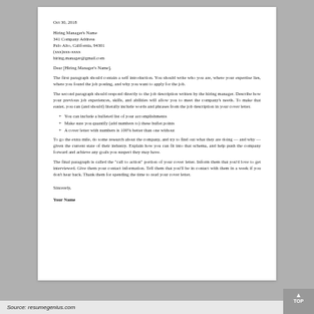Oct 30, 2018
Hiring Manager's Name
341 Company Address
Palo Alto, California, 94301
(xxx)xxx-xxxx
hiring.manager@gmail.com
Dear [Hiring Manager's Name],
The first paragraph should contain a self introduction. You should write who you are, where your expertise lies, where you found the job posting, and why you want to apply for the job.
The second paragraph should respond directly to the job description written by the hiring manager. Describe how your previous job experiences, skills, and abilities will allow you to meet the company's needs. To make that easier, you can (and should) literally include words and phrases from the job description in your cover letter.
You can include a bulleted list of your accomplishments
Make sure you quantify (add numbers to) these bullet points
A cover letter with numbers is 100% better than one without
To go the extra mile, do some research about the company, and try to find out what they are doing — and why — given the current state of their industry. Explain how you can fit into that schema, and help push the company forward and achieve any goals you suspect they may have.
The final paragraph is called the "call to action" portion of your cover letter. Inform them that you'd love to get interviewed. Give them your contact information. Tell them that you'll be in contact with them in a week if you don't hear back. Thank them for spending the time to read your cover letter.
Sincerely,
Your Name
Source: resumegenius.com